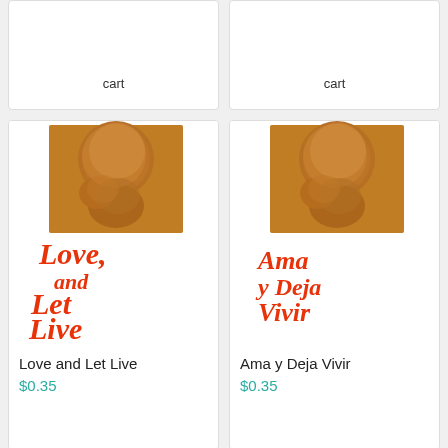cart
cart
[Figure (illustration): Book cover for 'Love and Let Live' showing a fetal ultrasound/photo image at top and large red italic text 'Love, and Let Live' below on white background]
Love and Let Live
$0.35
[Figure (illustration): Book cover for 'Ama y Deja Vivir' showing a fetal ultrasound/photo image at top and large red script text 'Ama y Deja Vivir' below on white background]
Ama y Deja Vivir
$0.35